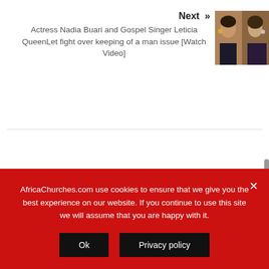Next »  Actress Nadia Buari and Gospel Singer Leticia QueenLet fight over keeping of a man issue [Watch Video]
[Figure (photo): Thumbnail image showing two women side by side]
AfricaChurches.com use cookies to ensure that we give you the best experience on our website. If you continue to use this site we will assume that you are happy with it.
Ok
Privacy policy